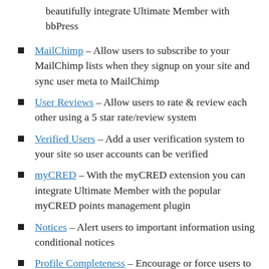beautifully integrate Ultimate Member with bbPress
MailChimp – Allow users to subscribe to your MailChimp lists when they signup on your site and sync user meta to MailChimp
User Reviews – Allow users to rate & review each other using a 5 star rate/review system
Verified Users – Add a user verification system to your site so user accounts can be verified
myCRED – With the myCRED extension you can integrate Ultimate Member with the popular myCRED points management plugin
Notices – Alert users to important information using conditional notices
Profile Completeness – Encourage or force users to complete their profiles with the profile completeness extension
Friends – Allows users to become friends by sending & accepting/rejecting friend requests